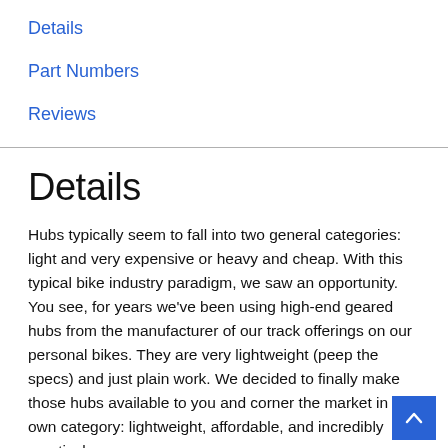Details
Part Numbers
Reviews
Details
Hubs typically seem to fall into two general categories: light and very expensive or heavy and cheap. With this typical bike industry paradigm, we saw an opportunity. You see, for years we've been using high-end geared hubs from the manufacturer of our track offerings on our personal bikes. They are very lightweight (peep the specs) and just plain work. We decided to finally make those hubs available to you and corner the market in our own category: lightweight, affordable, and incredibly practical.